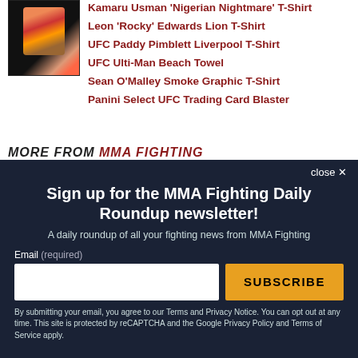[Figure (photo): UFC t-shirt product image with dark background and colorful graphic]
Kamaru Usman 'Nigerian Nightmare' T-Shirt
Leon 'Rocky' Edwards Lion T-Shirt
UFC Paddy Pimblett Liverpool T-Shirt
UFC Ulti-Man Beach Towel
Sean O'Malley Smoke Graphic T-Shirt
Panini Select UFC Trading Card Blaster
MORE FROM MMA FIGHTING
Sign up for the MMA Fighting Daily Roundup newsletter!
A daily roundup of all your fighting news from MMA Fighting
Email (required)
By submitting your email, you agree to our Terms and Privacy Notice. You can opt out at any time. This site is protected by reCAPTCHA and the Google Privacy Policy and Terms of Service apply.